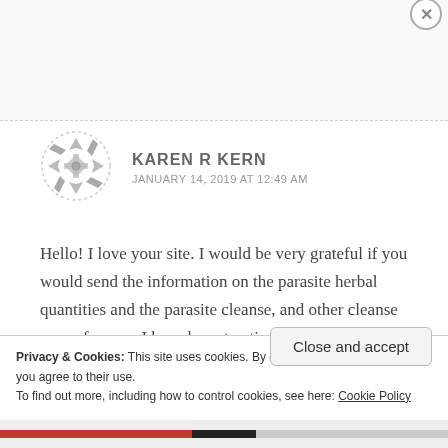[Figure (logo): Circular avatar icon with a geometric quilt/snowflake pattern in gray on white background with dashed border]
KAREN R KERN
JANUARY 14, 2019 AT 12:49 AM
Hello! I love your site. I would be very grateful if you would send the information on the parasite herbal quantities and the parasite cleanse, and other cleanse you reference. I have been treating lyme for 5 years, and am just not hearing about parasites! Thank you so much.
Privacy & Cookies: This site uses cookies. By continuing to use this website, you agree to their use.
To find out more, including how to control cookies, see here: Cookie Policy
Close and accept